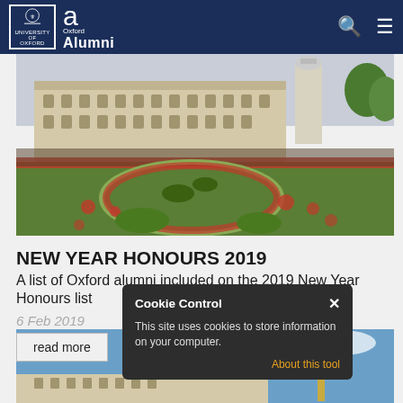University of Oxford Alumni
[Figure (photo): Photograph of Buckingham Palace gardens with red flowers, green lawn, crowds of tourists, and the Victoria Memorial statue visible in the background]
NEW YEAR HONOURS 2019
A list of Oxford alumni included on the 2019 New Year Honours list
6 Feb 2019
[Figure (photo): Photograph showing Buckingham Palace with golden sculpture visible and blue sky with clouds]
Cookie Control
This site uses cookies to store information on your computer.
About this tool
read more